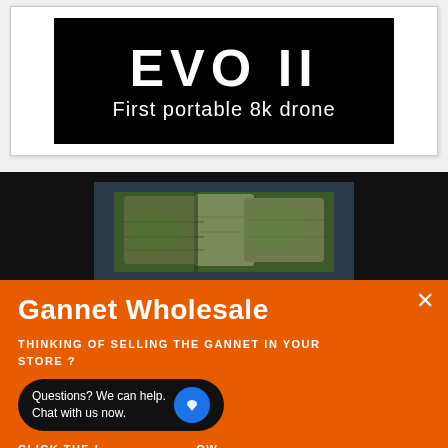[Figure (logo): EVO II — First portable 8k drone logo on black background banner]
[Figure (photo): Aerial drone photo showing a rocky cliff or ancient stone structure from above, viewed against dark background]
Gannet Wholesale
THINKING OF SELLING THE GANNET IN YOUR STORE ?
Questions? We can help. Chat with us now.
CLICK THE LINK TEXT BELOW
LINK TEXT